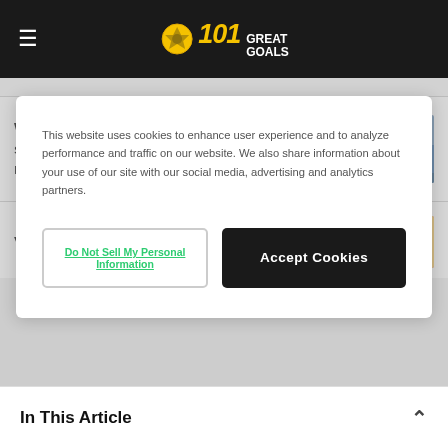101 Great Goals
This website uses cookies to enhance user experience and to analyze performance and traffic on our website. We also share information about your use of our site with our social media, advertising and analytics partners.
Do Not Sell My Personal Information
Accept Cookies
Walsall vs Charlton Atheltic live streaming: Watch Carabao Cup second round online
Viktoria Plzen vs FK Qarabag live
In This Article